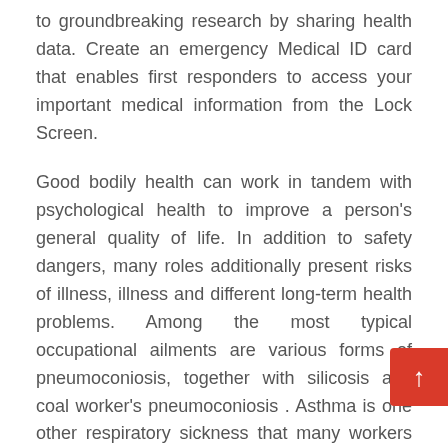to groundbreaking research by sharing health data. Create an emergency Medical ID card that enables first responders to access your important medical information from the Lock Screen.

Good bodily health can work in tandem with psychological health to improve a person's general quality of life. In addition to safety dangers, many roles additionally present risks of illness, illness and different long-term health problems. Among the most typical occupational ailments are various forms of pneumoconiosis, together with silicosis and coal worker's pneumoconiosis . Asthma is one other respiratory sickness that many workers are vulnerable to. Workers may be susceptible to skin illnesses, together with eczema, dermatitis, urticaria, sunbu and skin cancer. Other occupational illnesses of concern embody carpal tunnel syndrome and lead